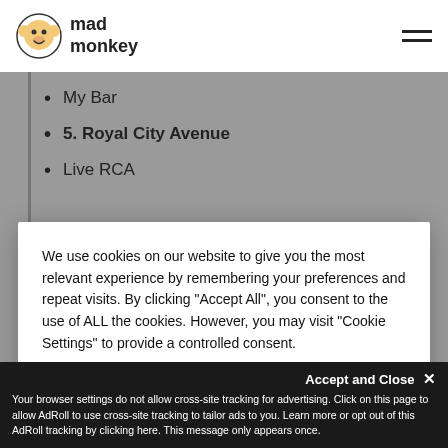mad monkey
My Bar
5. Royal City Avenue
Live RCA
We use cookies on our website to give you the most relevant experience by remembering your preferences and repeat visits. By clicking "Accept All", you consent to the use of ALL the cookies. However, you may visit "Cookie Settings" to provide a controlled consent.
Cookie Settings | Accept All
[Figure (screenshot): Bangkok city image with bold text BANGKOK and NOW OPEN below]
Accept and Close ✕
Your browser settings do not allow cross-site tracking for advertising. Click on this page to allow AdRoll to use cross-site tracking to tailor ads to you. Learn more or opt out of this AdRoll tracking by clicking here. This message only appears once.